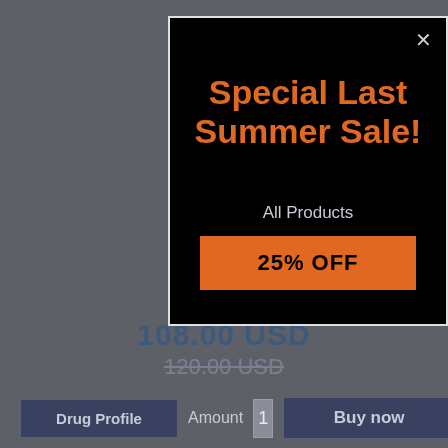[Figure (screenshot): E-commerce popup modal on a dark grey background showing a special sale promotion]
Special Last Summer Sale!
All Products
25% OFF
108.00 USD
120.00 USD
Drug Profile
Amount  1
Buy now